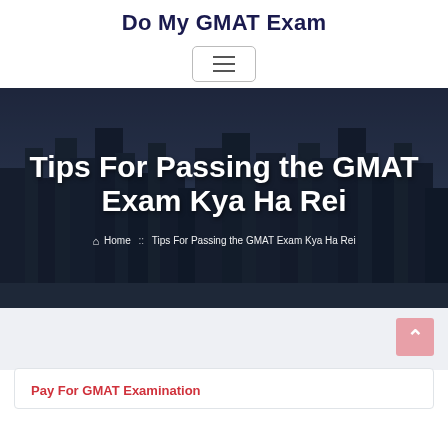Do My GMAT Exam
[Figure (other): Hamburger menu button with three horizontal lines inside a rounded rectangle border]
[Figure (photo): Dark overlay cityscape/skyline banner with large white bold text 'Tips For Passing the GMAT Exam Kya Ha Rei' and breadcrumb navigation below showing Home :: Tips For Passing the GMAT Exam Kya Ha Rei]
Tips For Passing the GMAT Exam Kya Ha Rei
🏠 Home :: Tips For Passing the GMAT Exam Kya Ha Rei
Pay For GMAT Examination